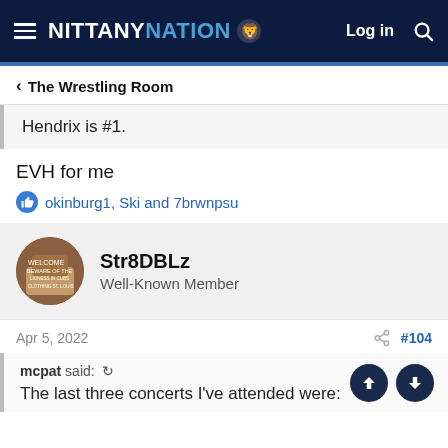NITTANY NATION
The Wrestling Room
Hendrix is #1.
EVH for me
okinburg1, Ski and 7brwnpsu
Str8DBLz
Well-Known Member
Apr 5, 2022  #104
mcpat said:
The last three concerts I've attended were: